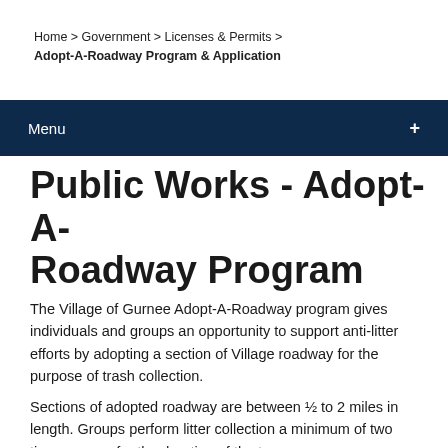Home > Government > Licenses & Permits > Adopt-A-Roadway Program & Application
Menu +
Public Works - Adopt-A-Roadway Program
The Village of Gurnee Adopt-A-Roadway program gives individuals and groups an opportunity to support anti-litter efforts by adopting a section of Village roadway for the purpose of trash collection.
Sections of adopted roadway are between ½ to 2 miles in length. Groups perform litter collection a minimum of two times a year, for the duration of the two-year